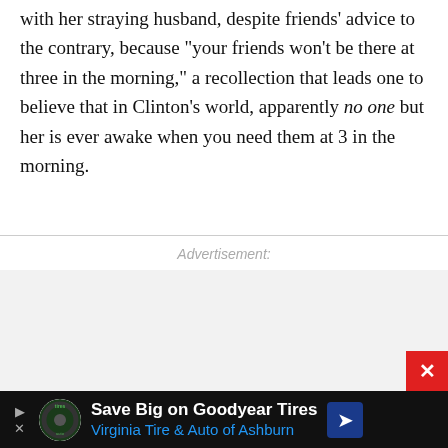with her straying husband, despite friends' advice to the contrary, because "your friends won't be there at three in the morning," a recollection that leads one to believe that in Clinton's world, apparently no one but her is ever awake when you need them at 3 in the morning.
Advertisement:
[Figure (other): Advertisement area placeholder (gray box) with a red close button in the bottom-right corner]
[Figure (other): Bottom advertisement banner with black background showing 'Save Big on Goodyear Tires - Virginia Tire & Auto of Ashburn' with a tire logo and navigation arrow icon]